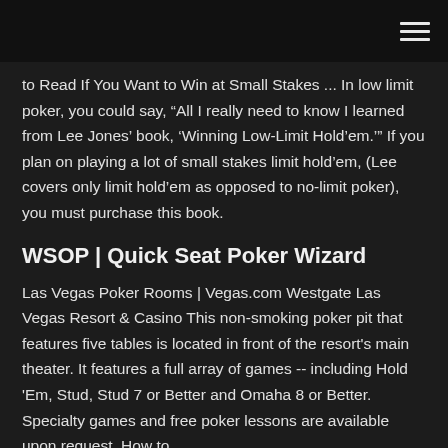[hamburger menu icon]
to Read If You Want to Win at Small Stakes ... In low limit poker, you could say, “All I really need to know I learned from Lee Jones’ book, ‘Winning Low-Limit Hold’em.’” If you plan on playing a lot of small stakes limit hold’em, (Lee covers only limit hold’em as opposed to no-limit poker), you must purchase this book.
WSOP | Quick Seat Poker Wizard
Las Vegas Poker Rooms | Vegas.com Westgate Las Vegas Resort & Casino This non-smoking poker pit that features five tables is located in front of the resort's main theater. It features a full array of games -- including Hold 'Em, Stud, Stud 7 or Better and Omaha 8 or Better. Specialty games and free poker lessons are available upon request. How to